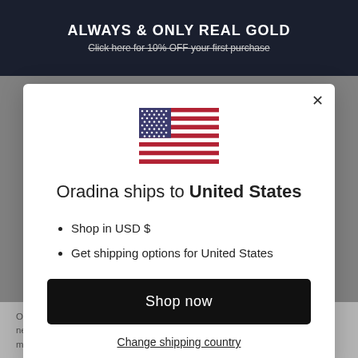ALWAYS & ONLY REAL GOLD
Click here for 10% OFF your first purchase
[Figure (illustration): US flag SVG illustration]
Oradina ships to United States
Shop in USD $
Get shipping options for United States
Shop now
Change shipping country
Our Fresco Baguette Ring is the pop of sophistication you need this season! Inspired by the vibrant colors of Italian murals, it features a floating san green zirconia stone...